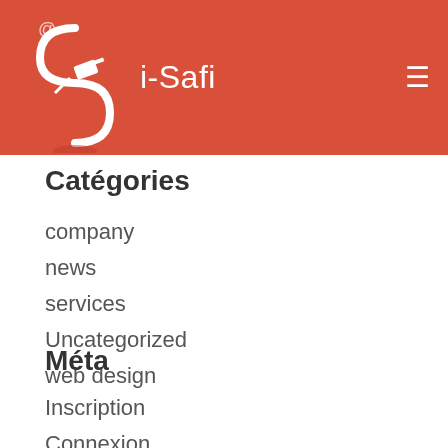i-Safi
Catégories
company
news
services
Uncategorized
web design
Méta
Inscription
Connexion
Flux des publications
Flux des commentaires